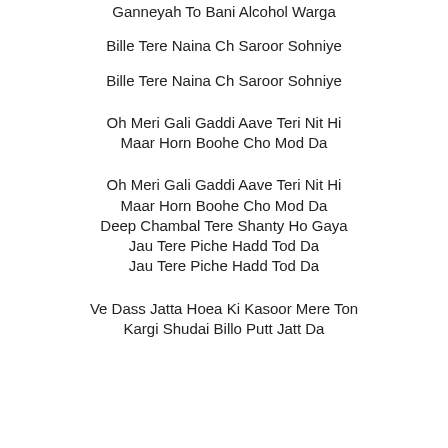Ganneyah To Bani Alcohol Warga
Bille Tere Naina Ch Saroor Sohniye
Bille Tere Naina Ch Saroor Sohniye
Oh Meri Gali Gaddi Aave Teri Nit Hi
Maar Horn Boohe Cho Mod Da
Oh Meri Gali Gaddi Aave Teri Nit Hi
Maar Horn Boohe Cho Mod Da
Deep Chambal Tere Shanty Ho Gaya
Jau Tere Piche Hadd Tod Da
Jau Tere Piche Hadd Tod Da
Ve Dass Jatta Hoea Ki Kasoor Mere Ton
Kargi Shudai Billo Putt Jatt Da